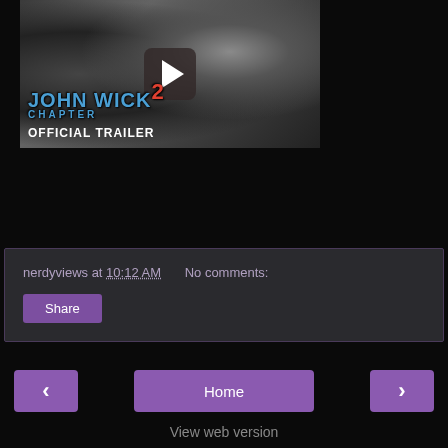[Figure (screenshot): John Wick Chapter 2 Official Trailer video thumbnail with play button overlay showing a man's face and the movie title text]
nerdyviews at 10:12 AM   No comments:
Share
‹
Home
›
View web version
About This Blog